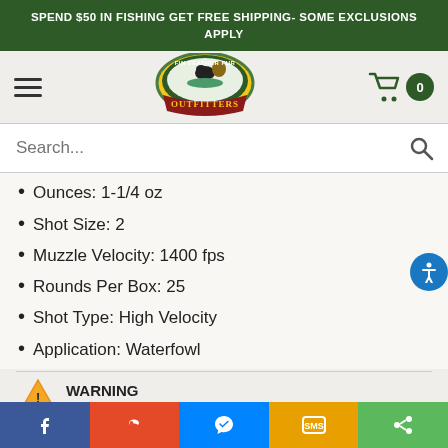SPEND $50 IN FISHING GET FREE SHIPPING- SOME EXCLUSIONS APPLY
[Figure (logo): Fin Feather Fur Outfitters circular logo with goose, fish, and deer imagery, surrounded by red banner reading OUTFITTERS]
Ounces: 1-1/4 oz
Shot Size: 2
Muzzle Velocity: 1400 fps
Rounds Per Box: 25
Shot Type: High Velocity
Application: Waterfowl